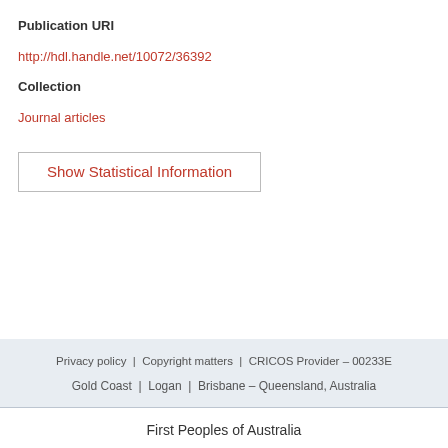Publication URI
http://hdl.handle.net/10072/36392
Collection
Journal articles
Show Statistical Information
Privacy policy | Copyright matters | CRICOS Provider – 00233E
Gold Coast | Logan | Brisbane – Queensland, Australia
First Peoples of Australia